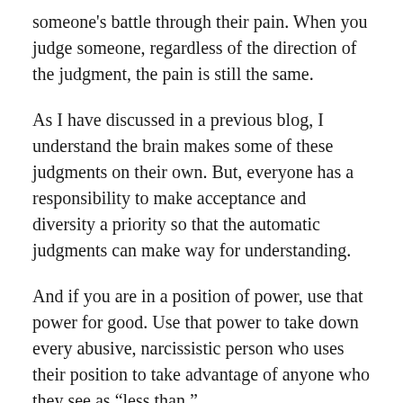someone's battle through their pain. When you judge someone, regardless of the direction of the judgment, the pain is still the same.
As I have discussed in a previous blog, I understand the brain makes some of these judgments on their own. But, everyone has a responsibility to make acceptance and diversity a priority so that the automatic judgments can make way for understanding.
And if you are in a position of power, use that power for good. Use that power to take down every abusive, narcissistic person who uses their position to take advantage of anyone who they see as “less than.”